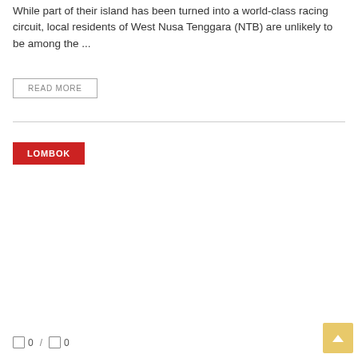While part of their island has been turned into a world-class racing circuit, local residents of West Nusa Tenggara (NTB) are unlikely to be among the ...
READ MORE
LOMBOK
0 / 0